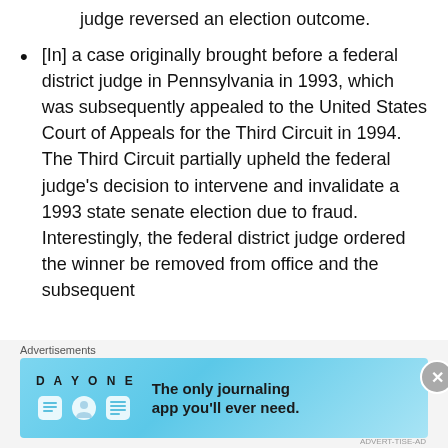judge reversed an election outcome.
[In] a case originally brought before a federal district judge in Pennsylvania in 1993, which was subsequently appealed to the United States Court of Appeals for the Third Circuit in 1994. The Third Circuit partially upheld the federal judge’s decision to intervene and invalidate a 1993 state senate election due to fraud. Interestingly, the federal district judge ordered the winner be removed from office and the subsequent
Advertisements
[Figure (illustration): Day One journaling app advertisement banner with blue gradient background, app icon illustrations, and text: The only journaling app you’ll ever need.]